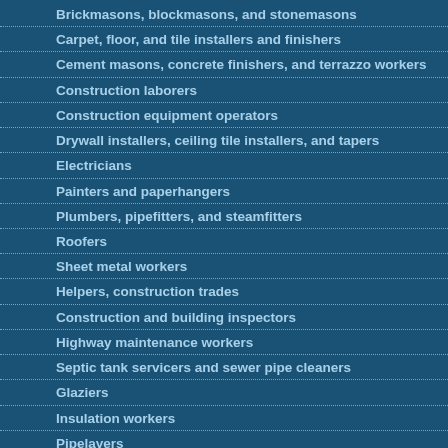Brickmasons, blockmasons, and stonemasons
Carpet, floor, and tile installers and finishers
Cement masons, concrete finishers, and terrazzo workers
Construction laborers
Construction equipment operators
Drywall installers, ceiling tile installers, and tapers
Electricians
Painters and paperhangers
Plumbers, pipefitters, and steamfitters
Roofers
Sheet metal workers
Helpers, construction trades
Construction and building inspectors
Highway maintenance workers
Septic tank servicers and sewer pipe cleaners
Glaziers
Insulation workers
Pipelayers
Plasterers and stucco masons